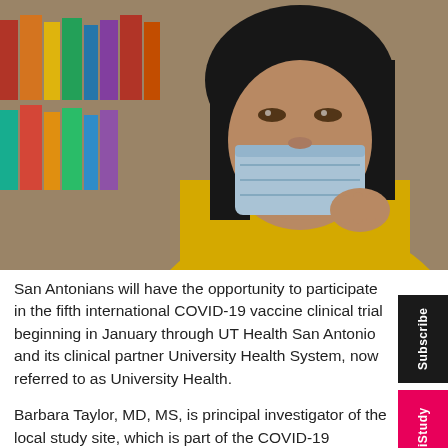[Figure (photo): A young woman with long dark hair wearing a yellow jacket and a light blue surgical face mask, sitting in front of a bookshelf with colorful books in the background. She is holding her hand near her chin.]
San Antonians will have the opportunity to participate in the fifth international COVID-19 vaccine clinical trial beginning in January through UT Health San Antonio and its clinical partner University Health System, now referred to as University Health.
Barbara Taylor, MD, MS, is principal investigator of the local study site, which is part of the COVID-19 Prevention Network.